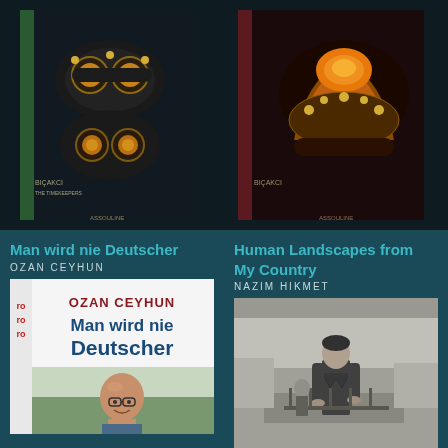[Figure (photo): Book cover of Biçakcı jewelry book showing ornate jeweled rings/brooches on dark background, Assouline publisher]
[Figure (photo): Book cover of Biçakcı book showing ornate jeweled crown/piece with orange gemstones, Assouline publisher, dark background]
Man wird nie Deutscher
OZAN CEYHUN
Human Landscapes from My Country
NAZIM HIKMET
[Figure (photo): Book cover of 'Man wird nie Deutscher' by Ozan Ceyhun, rororo paperback, showing author photo - bald man with glasses smiling outdoors]
[Figure (photo): Book cover of 'Human Landscapes from My Country' by Nazim Hikmet, black and white photo of man standing outdoors]